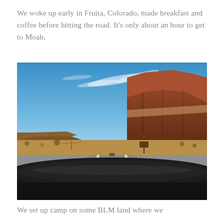We woke up early in Fruita, Colorado, made breakfast and coffee before hitting the road. It's only about an hour to get to Moab.
[Figure (photo): Dashboard view from inside a car driving on a two-lane highway through the Utah/Colorado desert landscape, with red rock mesas and cliffs on the right side, flat desert scrubland on the left, a bright blue sky with wispy white clouds overhead, and a car visible in the distance on the road ahead.]
We set up camp on some BLM land where we